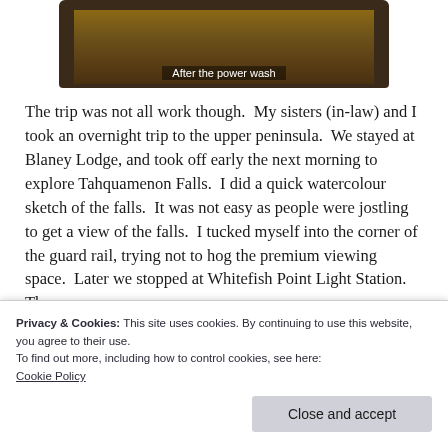[Figure (photo): A photo or image with dark background showing 'After the power wash' caption overlay at the bottom]
After the power wash
The trip was not all work though.  My sisters (in-law) and I took an overnight trip to the upper peninsula.  We stayed at Blaney Lodge, and took off early the next morning to explore Tahquamenon Falls.  I did a quick watercolour sketch of the falls.  It was not easy as people were jostling to get a view of the falls.  I tucked myself into the corner of the guard rail, trying not to hog the premium viewing space.  Later we stopped at Whitefish Point Light Station.  There
Privacy & Cookies: This site uses cookies. By continuing to use this website, you agree to their use.
To find out more, including how to control cookies, see here:
Cookie Policy
Close and accept